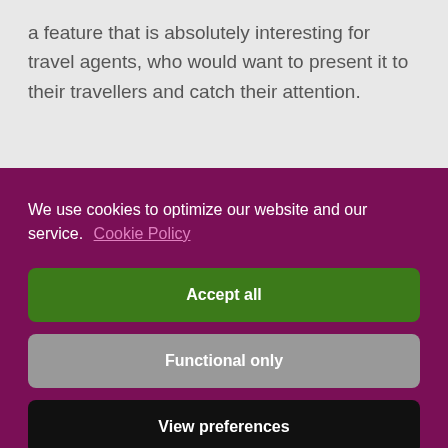a feature that is absolutely interesting for travel agents, who would want to present it to their travellers and catch their attention.
We use cookies to optimize our website and our service.  Cookie Policy
Accept all
Functional only
View preferences